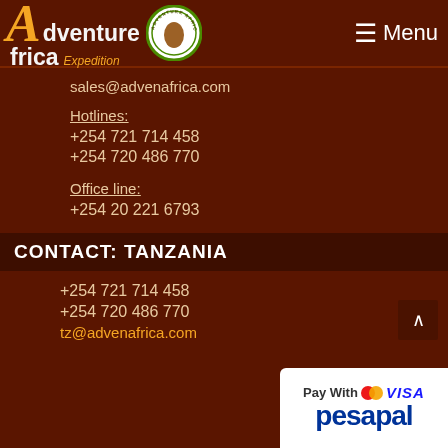Adventure Africa Expedition — Menu
sales@advenafrica.com
Hotlines:
+254 721 714 458
+254 720 486 770
Office line:
+254 20 221 6793
CONTACT: TANZANIA
+254 721 714 458
+254 720 486 770
tz@advenafrica.com
[Figure (logo): Pesapal payment logo showing Pay With Mastercard VISA pesapal]